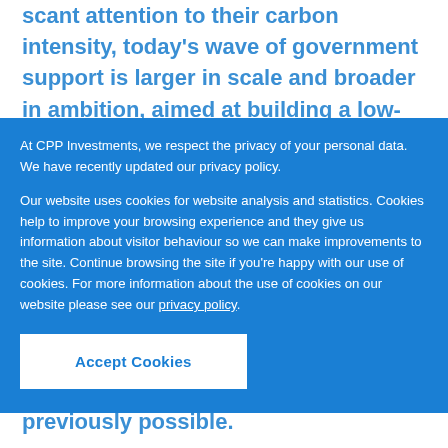scant attention to their carbon intensity, today's wave of government support is larger in scale and broader in ambition, aimed at building a low-carbon energy ecosystem capable of supplying multiple sectors, including heavy industry, power, and transport.
At CPP Investments, we respect the privacy of your personal data. We have recently updated our privacy policy.
Our website uses cookies for website analysis and statistics. Cookies help to improve your browsing experience and they give us information about visitor behaviour so we can make improvements to the site. Continue browsing the site if you're happy with our use of cookies. For more information about the use of cookies on our website please see our privacy policy.
Accept Cookies